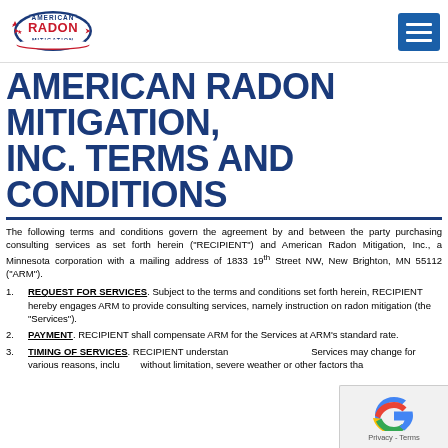American Radon Mitigation logo and navigation menu
AMERICAN RADON MITIGATION, INC. TERMS AND CONDITIONS
The following terms and conditions govern the agreement by and between the party purchasing consulting services as set forth herein (“RECIPIENT”) and American Radon Mitigation, Inc., a Minnesota corporation with a mailing address of 1833 19th Street NW, New Brighton, MN 55112 (“ARM”).
REQUEST FOR SERVICES. Subject to the terms and conditions set forth herein, RECIPIENT hereby engages ARM to provide consulting services, namely instruction on radon mitigation (the “Services”).
PAYMENT. RECIPIENT shall compensate ARM for the Services at ARM’s standard rate.
TIMING OF SERVICES. RECIPIENT understands Services may change for various reasons, including without limitation, severe weather or other factors that